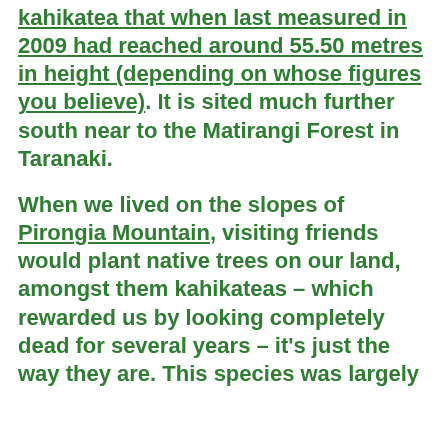kahikatea that when last measured in 2009 had reached around 55.50 metres in height (depending on whose figures you believe). It is sited much further south near to the Matirangi Forest in Taranaki.
When we lived on the slopes of Pirongia Mountain, visiting friends would plant native trees on our land, amongst them kahikateas – which rewarded us by looking completely dead for several years – it's just the way they are. This species was largely